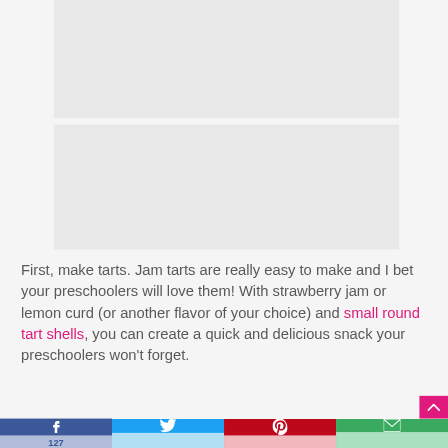[Figure (photo): Large image placeholder area (top) — light gray rectangle]
[Figure (photo): Large image placeholder area (bottom) — light gray rectangle]
First, make tarts. Jam tarts are really easy to make and I bet your preschoolers will love them! With strawberry jam or lemon curd (or another flavor of your choice) and small round tart shells, you can create a quick and delicious snack your preschoolers won't forget.
Facebook 127 | Twitter | Pinterest | Email